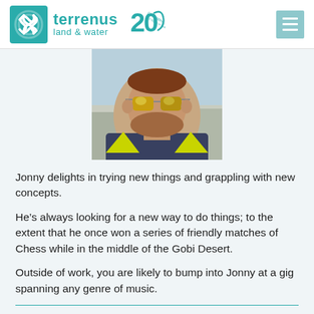terrenus land & water
[Figure (photo): Headshot photo of a young man wearing mirrored yellow-green sunglasses and a yellow high-visibility vest, outdoors with bare trees in background.]
Jonny delights in trying new things and grappling with new concepts.
He’s always looking for a new way to do things; to the extent that he once won a series of friendly matches of Chess while in the middle of the Gobi Desert.
Outside of work, you are likely to bump into Jonny at a gig spanning any genre of music.
Rachel Allen